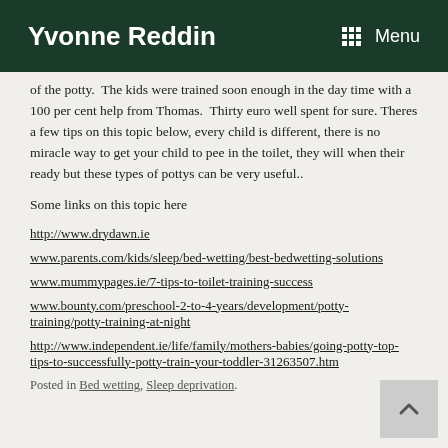Yvonne Reddin   Menu
of the potty.  The kids were trained soon enough in the day time with a 100 per cent help from Thomas.  Thirty euro well spent for sure. Theres a few tips on this topic below, every child is different, there is no miracle way to get your child to pee in the toilet, they will when their ready but these types of pottys can be very useful..
Some links on this topic here
http://www.drydawn.ie
www.parents.com/kids/sleep/bed-wetting/best-bedwetting-solutions
www.mummypages.ie/7-tips-to-toilet-training-success
www.bounty.com/preschool-2-to-4-years/development/potty-training/potty-training-at-night
http://www.independent.ie/life/family/mothers-babies/going-potty-top-tips-to-successfully-potty-train-your-toddler-31263507.htm
Posted in Bed wetting, Sleep deprivation.